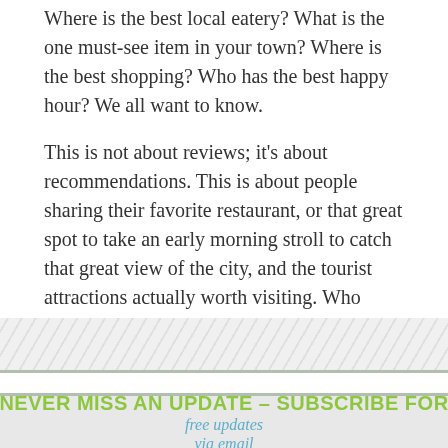Where is the best local eatery? What is the one must-see item in your town? Where is the best shopping? Who has the best happy hour? We all want to know.
This is not about reviews; it's about recommendations. This is about people sharing their favorite restaurant, or that great spot to take an early morning stroll to catch that great view of the city, and the tourist attractions actually worth visiting. Who better to share that information than the locals, the people who live there?
IP OPPORTUNITIES AVAILABLE   contact us for d
NEVER MISS AN UPDATE – SUBSCRIBE FOR
free updates
via email